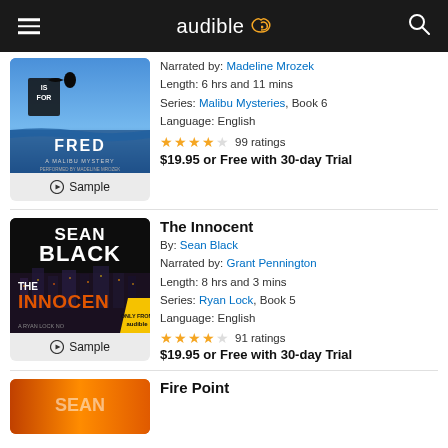audible
[Figure (illustration): Book cover for 'F is for Fred' Malibu Mystery audiobook, narrated by Madeline Mrozek. Blue ocean background with silhouette figure.]
Narrated by: Madeline Mrozek
Length: 6 hrs and 11 mins
Series: Malibu Mysteries, Book 6
Language: English
★★★★☆ 99 ratings
$19.95 or Free with 30-day Trial
[Figure (illustration): Book cover for 'The Innocent' by Sean Black, Ryan Lock No. 5 audiobook. Dark cityscape background.]
The Innocent
By: Sean Black
Narrated by: Grant Pennington
Length: 8 hrs and 3 mins
Series: Ryan Lock, Book 5
Language: English
★★★★☆ 91 ratings
$19.95 or Free with 30-day Trial
Fire Point